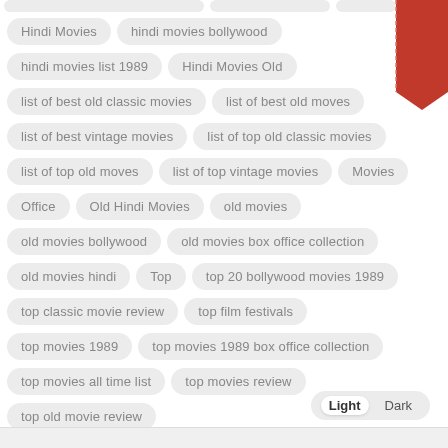Hindi Movies
hindi movies bollywood
hindi movies list 1989
Hindi Movies Old
list of best old classic movies
list of best old moves
list of best vintage movies
list of top old classic movies
list of top old moves
list of top vintage movies
Movies
Office
Old Hindi Movies
old movies
old movies bollywood
old movies box office collection
old movies hindi
Top
top 20 bollywood movies 1989
top classic movie review
top film festivals
top movies 1989
top movies 1989 box office collection
top movies all time list
top movies review
top old movie review
[Figure (infographic): FOR SALE red ribbon banner in top-right corner]
Light  Dark